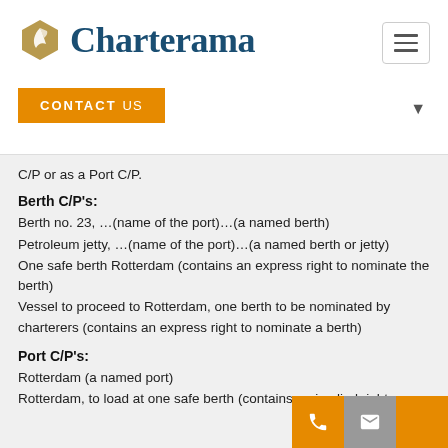Charterama
C/P or as a Port C/P.
Berth C/P's:
Berth no. 23, …(name of the port)…(a named berth)
Petroleum jetty, …(name of the port)…(a named berth or jetty)
One safe berth Rotterdam (contains an express right to nominate the berth)
Vessel to proceed to Rotterdam, one berth to be nominated by charterers (contains an express right to nominate a berth)
Port C/P's:
Rotterdam (a named port)
Rotterdam, to load at one safe berth (contains an implied right